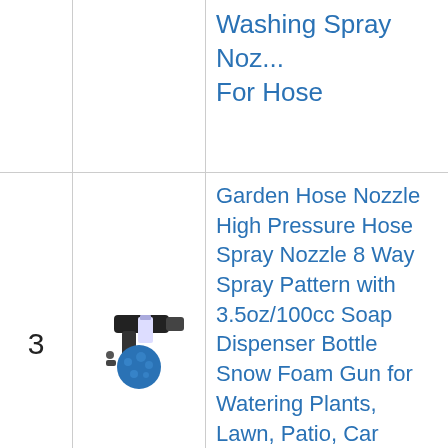| # | Image | Product Title |
| --- | --- | --- |
|  |  | Washing Spray Nozzle For Hose |
| 3 | [product image] | Garden Hose Nozzle High Pressure Hose Spray Nozzle 8 Way Spray Pattern with 3.5oz/100cc Soap Dispenser Bottle Snow Foam Gun for Watering Plants, Lawn, Patio, Car Wash, Cleaning🔵 Showering Pet... |